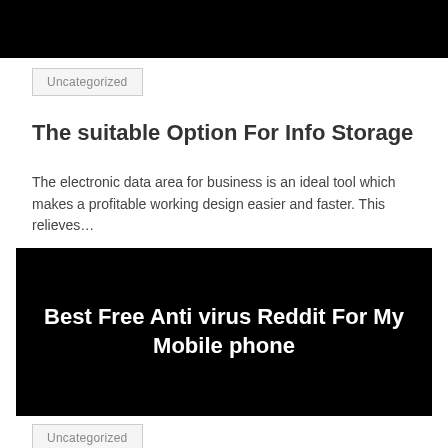[Figure (photo): Black bar at top of page serving as header image background]
Uncategorized
The suitable Option For Info Storage
The electronic data area for business is an ideal tool which makes a profitable working design easier and faster. This relieves…
[Figure (photo): Black background image with white text reading: Best Free Anti virus Reddit For My Mobile phone]
Uncategorized